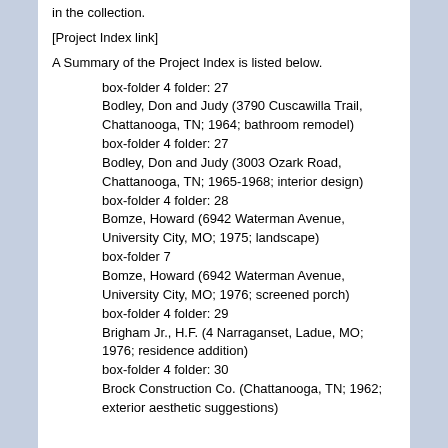in the collection.
[Project Index link]
A Summary of the Project Index is listed below.
box-folder 4 folder: 27
Bodley, Don and Judy (3790 Cuscawilla Trail, Chattanooga, TN; 1964; bathroom remodel)
box-folder 4 folder: 27
Bodley, Don and Judy (3003 Ozark Road, Chattanooga, TN; 1965-1968; interior design)
box-folder 4 folder: 28
Bomze, Howard (6942 Waterman Avenue, University City, MO; 1975; landscape)
box-folder 7
Bomze, Howard (6942 Waterman Avenue, University City, MO; 1976; screened porch)
box-folder 4 folder: 29
Brigham Jr., H.F. (4 Narraganset, Ladue, MO; 1976; residence addition)
box-folder 4 folder: 30
Brock Construction Co. (Chattanooga, TN; 1962; exterior aesthetic suggestions)